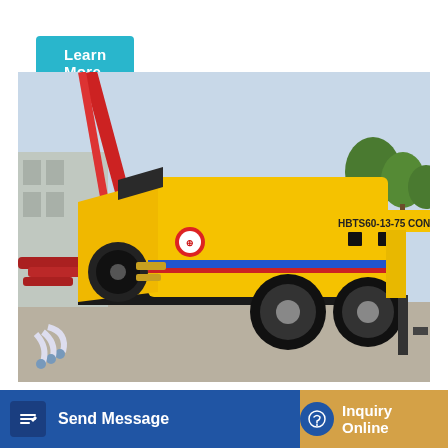Learn More
[Figure (photo): Yellow HBTS60-13-75 concrete pump on a construction site, trailer-mounted with large hopper at front, side labeled 'HBTS60-13-75 CONCRETE PUMP', set against trees and gray sky background]
Front Loading - Fiori Group - Take Control Of Your Concrete
Send Message
Inquiry Online